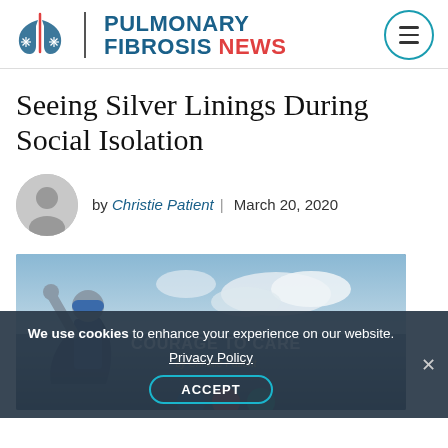PULMONARY FIBROSIS NEWS
Seeing Silver Linings During Social Isolation
by Christie Patient | March 20, 2020
[Figure (photo): Child dressed as superhero with arms raised, overlaid with 'COURAGE TO CARE by Christie Patient' text]
We use cookies to enhance your experience on our website. Privacy Policy ACCEPT